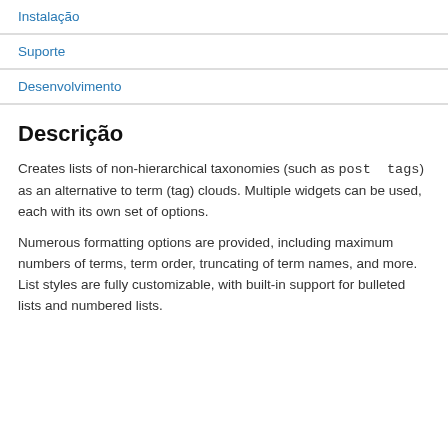Instalação
Suporte
Desenvolvimento
Descrição
Creates lists of non-hierarchical taxonomies (such as post tags) as an alternative to term (tag) clouds. Multiple widgets can be used, each with its own set of options.
Numerous formatting options are provided, including maximum numbers of terms, term order, truncating of term names, and more. List styles are fully customizable, with built-in support for bulleted lists and numbered lists.